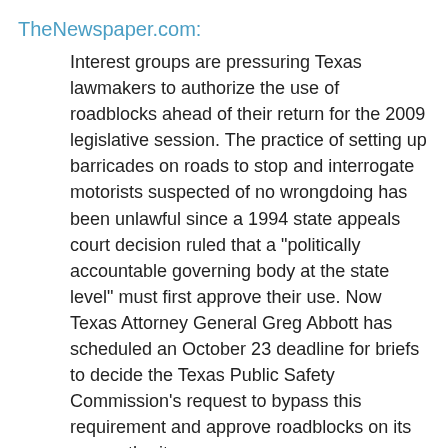TheNewspaper.com:
Interest groups are pressuring Texas lawmakers to authorize the use of roadblocks ahead of their return for the 2009 legislative session. The practice of setting up barricades on roads to stop and interrogate motorists suspected of no wrongdoing has been unlawful since a 1994 state appeals court decision ruled that a "politically accountable governing body at the state level" must first approve their use. Now Texas Attorney General Greg Abbott has scheduled an October 23 deadline for briefs to decide the Texas Public Safety Commission's request to bypass this requirement and approve roadblocks on its own authority.
Here's the letter from Public Safety Commission Chairman Allan Polunsky (pdf) seeking authority to set up roadblocks to check driver's license and insurance information. DPS wants to know not only whether they can authorize a "driver license checkpoint program" but also whether they can authorize the state-level roadblocks for some other requirement.